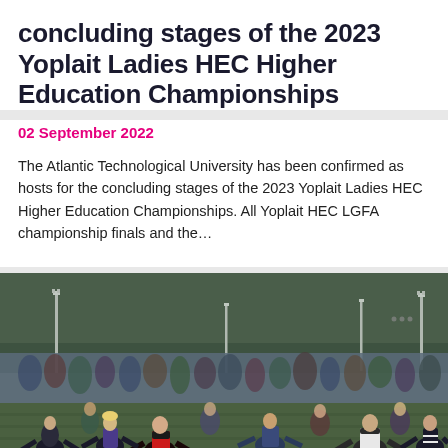concluding stages of the 2023 Yoplait Ladies HEC Higher Education Championships
02 September 2022
The Atlantic Technological University has been confirmed as hosts for the concluding stages of the 2023 Yoplait Ladies HEC Higher Education Championships. All Yoplait HEC LGFA championship finals and the...
[Figure (photo): Large crowd of women athletes performing a group exercise or haka-style movement on an outdoor sports field, with floodlights and trees visible in the background. Players wearing various sports jerseys including black and red.]